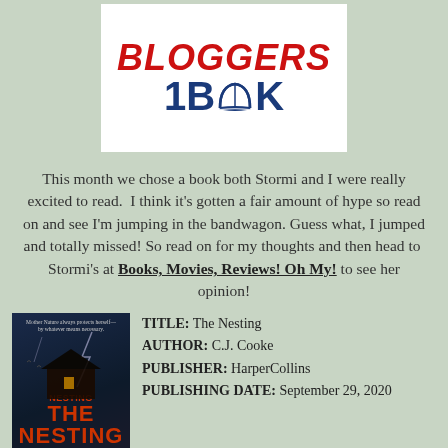[Figure (logo): Bloggers 1 Book logo: red italic bold BLOGGERS text over blue bold 1BOOK text with open book icon replacing the O, on white background]
This month we chose a book both Stormi and I were really excited to read. I think it's gotten a fair amount of hype so read on and see I'm jumping in the bandwagon. Guess what, I jumped and totally missed! So read on for my thoughts and then head to Stormi's at Books, Movies, Reviews! Oh My! to see her opinion!
[Figure (photo): Book cover of The Nesting by C.J. Cooke showing a dark atmospheric scene with a house on a cliff, lightning, and red title text]
TITLE: The Nesting
AUTHOR: C.J. Cooke
PUBLISHER: HarperCollins
PUBLISHING DATE: September 29, 2020